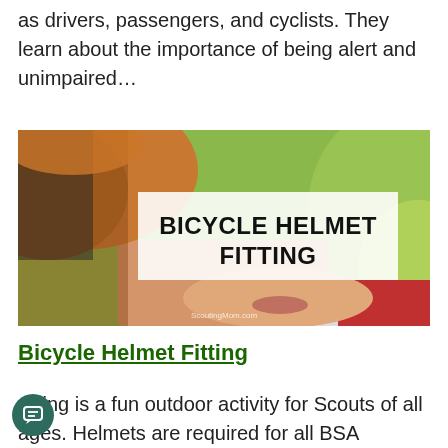as drivers, passengers, and cyclists. They learn about the importance of being alert and unimpaired…
[Figure (photo): Photo of a child wearing a bicycle helmet with a white overlay banner reading 'BICYCLE HELMET FITTING'. Watermark reads 'ScoutingMom.com'.]
Bicycle Helmet Fitting
ycling is a fun outdoor activity for Scouts of all ages. Helmets are required for all BSA